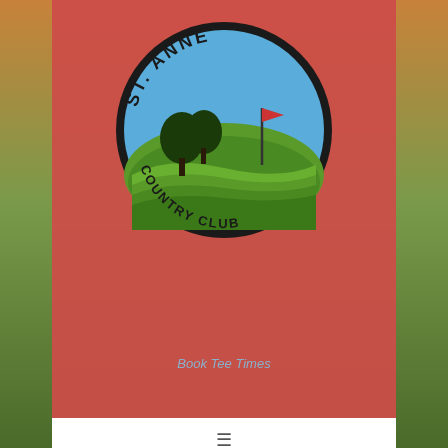[Figure (logo): St. Anne Country Club circular logo with trees, golf flag, and rolling green hills]
Book Tee Times
2018 OFF SEASON Golf Rates